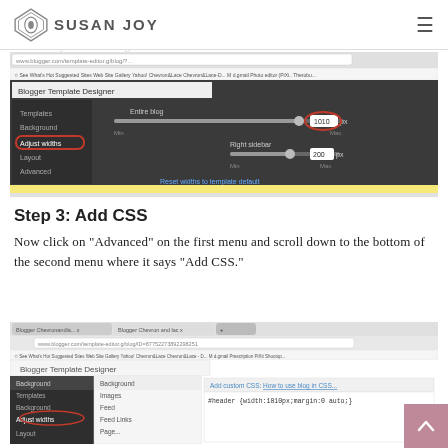SUSAN JOY
Step 2: Adjust Widths
Click on "Adjust Widths" on the left menu to find out how wide your entire blog is. Mine is 1010.
[Figure (screenshot): Screenshot of Blogger Template Designer showing Adjust Widths panel with sliders for Entire Blog (1010px) and Right sidebar (200px). The 'Adjust widths' menu item is circled in red.]
Step 3: Add CSS
Now click on "Advanced" on the first menu and scroll down to the bottom of the second menu where it says "Add CSS."
[Figure (screenshot): Screenshot of Blogger Template Designer showing the Add Custom CSS panel with code: #header {width:1010px;margin:0 auto;} The 'Adjust widths' menu item is partially visible and circled.]